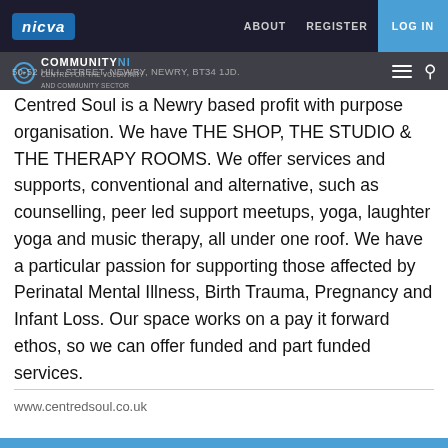nicva — ABOUT  REGISTER  LOG IN
50-52 HILL STREET, NEWRY, NEWRY, BT34 1JD. COMMUNITY NI
Centred Soul is a Newry based profit with purpose organisation. We have THE SHOP, THE STUDIO & THE THERAPY ROOMS. We offer services and supports, conventional and alternative, such as counselling, peer led support meetups, yoga, laughter yoga and music therapy, all under one roof. We have a particular passion for supporting those affected by Perinatal Mental Illness, Birth Trauma, Pregnancy and Infant Loss. Our space works on a pay it forward ethos, so we can offer funded and part funded services.
www.centredsoul.co.uk